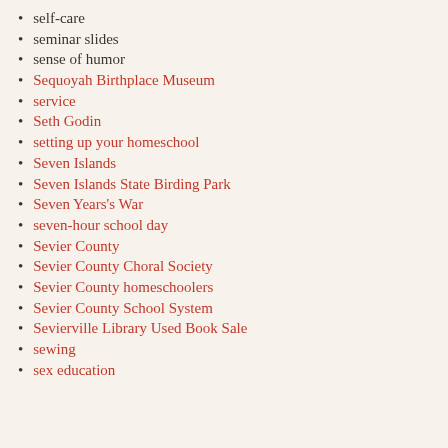self-care
seminar slides
sense of humor
Sequoyah Birthplace Museum
service
Seth Godin
setting up your homeschool
Seven Islands
Seven Islands State Birding Park
Seven Years's War
seven-hour school day
Sevier County
Sevier County Choral Society
Sevier County homeschoolers
Sevier County School System
Sevierville Library Used Book Sale
sewing
sex education